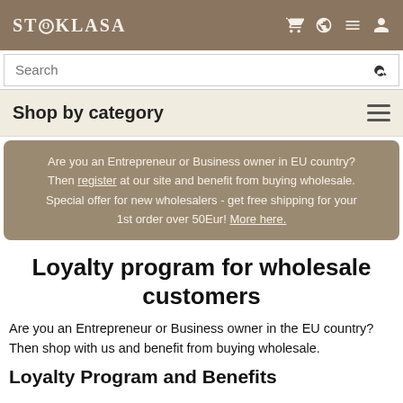STOKLASA
[Figure (screenshot): Search bar with magnifying glass icon]
Shop by category
Are you an Entrepreneur or Business owner in EU country? Then register at our site and benefit from buying wholesale. Special offer for new wholesalers - get free shipping for your 1st order over 50Eur! More here.
Loyalty program for wholesale customers
Are you an Entrepreneur or Business owner in the EU country? Then shop with us and benefit from buying wholesale.
Loyalty Program and Benefits